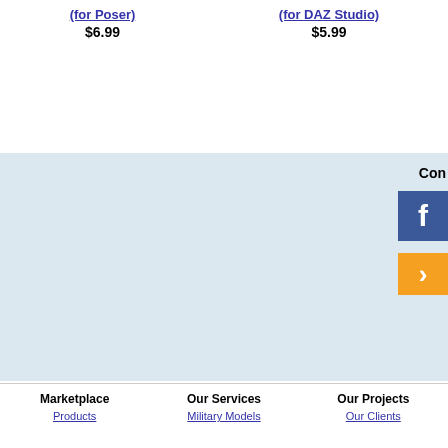(for Poser)
$6.99
(for DAZ Studio)
$5.99
Con
Marketplace
Products
Search
Best Sellers
Resources
Marketplace Questions
Brokered Artist Benefits
Merchant Resources
Product Guidelines
Product Checklist
Our Services
Military Models
Clothing Models
Architecture
Commercials and Videos
Interior Sets
Humans and Creatures
Rendering
Our Projects
Our Clients
Publications
Events
Notable Works
Customer Projects
© 2004 - 2022 VanishingPoint, Inc.
[Figure (infographic): Advertisement for Karter School: Specialized Immersive Programs with Contact Us button and school interior photo]
Karter School